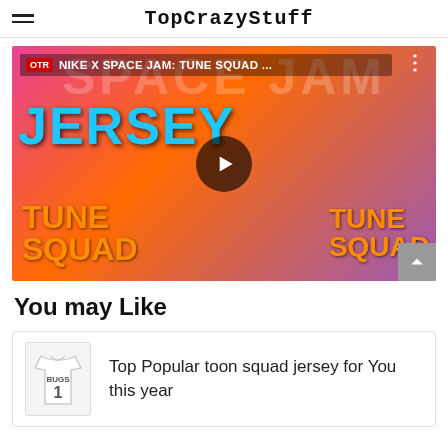TopCrazyStuff
[Figure (screenshot): YouTube video thumbnail for 'NIKE X SPACE JAM: TUNE SQUAD ...' showing LeBron James and another person wearing Tune Squad jerseys, with Space Jam branding and a play button overlay.]
You may Like
[Figure (photo): Small thumbnail image of a white Tune Squad jersey with 'BUGS 1' text]
Top Popular toon squad jersey for You this year